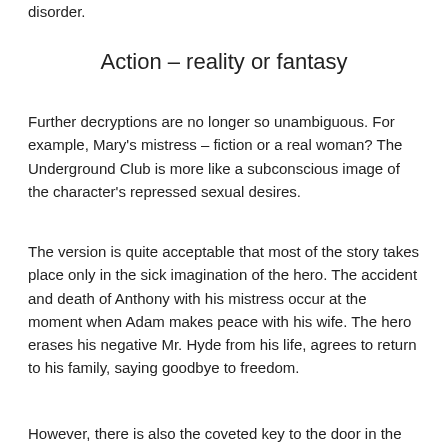disorder.
Action – reality or fantasy
Further decryptions are no longer so unambiguous. For example, Mary's mistress – fiction or a real woman? The Underground Club is more like a subconscious image of the character's repressed sexual desires.
The version is quite acceptable that most of the story takes place only in the sick imagination of the hero. The accident and death of Anthony with his mistress occur at the moment when Adam makes peace with his wife. The hero erases his negative Mr. Hyde from his life, agrees to return to his family, saying goodbye to freedom.
However, there is also the coveted key to the door in the